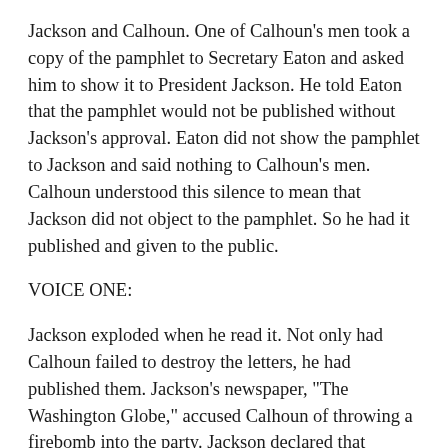Jackson and Calhoun. One of Calhoun's men took a copy of the pamphlet to Secretary Eaton and asked him to show it to President Jackson. He told Eaton that the pamphlet would not be published without Jackson's approval. Eaton did not show the pamphlet to Jackson and said nothing to Calhoun's men. Calhoun understood this silence to mean that Jackson did not object to the pamphlet. So he had it published and given to the public.
VOICE ONE:
Jackson exploded when he read it. Not only had Calhoun failed to destroy the letters, he had published them. Jackson's newspaper, "The Washington Globe," accused Calhoun of throwing a firebomb into the party. Jackson declared that Calhoun and his supporters had cut their own throats. Only later did Calhoun discover